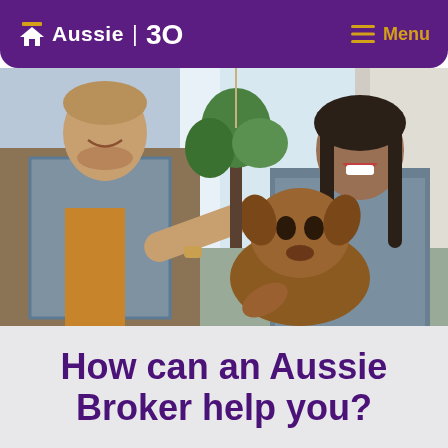Aussie | 30  Menu
[Figure (photo): A smiling man in a plaid shirt and a laughing woman in a grey top playing with a large brown dog inside a bright home with hanging plants and curtained windows]
How can an Aussie Broker help you?